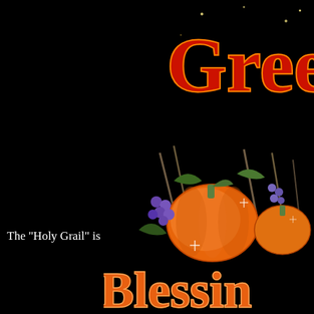[Figure (illustration): Partial view of decorative glitter text reading 'Greet' (part of 'Greetings') in red with orange/gold glow on black background]
glitter-graphics.com
~Author's Notes:
The "Holy Grail" is a poetry form or style
[Figure (illustration): Thanksgiving harvest cornucopia illustration with pumpkins, gourds, wheat, grapes and fall foliage, with decorative glitter text 'Blessings' in orange at the bottom]